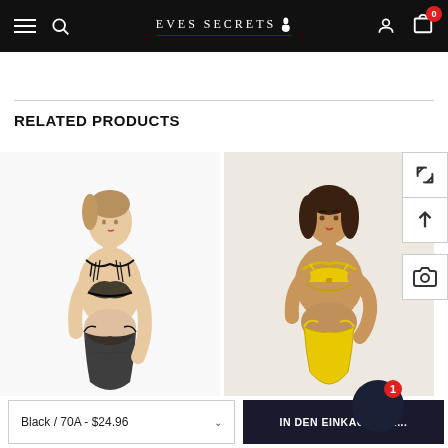EVES SECRETS
RELATED PRODUCTS
[Figure (photo): Female model wearing black sheer strappy lingerie set (bra and panty) against white background]
[Figure (photo): Female model wearing yellow underwire bra and thong lingerie set]
Black / 70A - $24.96
IN DEN EINKAUFSWA...